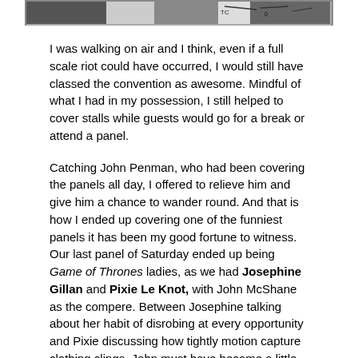[Figure (photo): Partial image strip at top of page, showing a cropped black and white photo with handwritten text visible.]
I was walking on air and I think, even if a full scale riot could have occurred, I would still have classed the convention as awesome. Mindful of what I had in my possession, I still helped to cover stalls while guests would go for a break or attend a panel.
Catching John Penman, who had been covering the panels all day, I offered to relieve him and give him a chance to wander round. And that is how I ended up covering one of the funniest panels it has been my good fortune to witness. Our last panel of Saturday ended up being Game of Thrones ladies, as we had Josephine Gillan and Pixie Le Knot, with John McShane as the compere. Between Josephine talking about her habit of disrobing at every opportunity and Pixie discussing how tightly motion capture clothing clings, John must have become a little flustered and now the mere mention of kleenex is enough to reduce him or any member of that audience to helpless giggles.
By the time this panel was completed, the crowds had begun to disperse into the beautiful sunshine that had blessed us for the